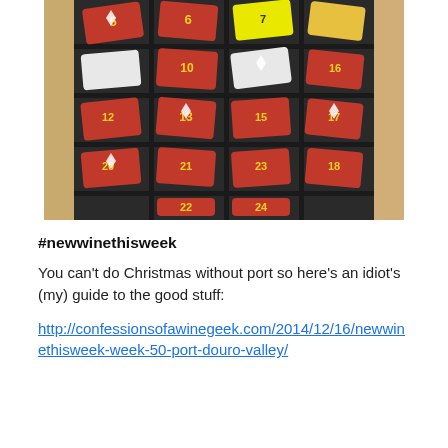[Figure (photo): A dark wooden wine rack / advent calendar filled with numbered red-wrapped wine bottles or packages, with numbers visible including 5, 6, 10, 13, 16, 22, 24 and others.]
#newwinethisweek
You can't do Christmas without port so here's an idiot's (my) guide to the good stuff:
http://confessionsofawinegeek.com/2014/12/16/newwinethisweek-week-50-port-douro-valley/